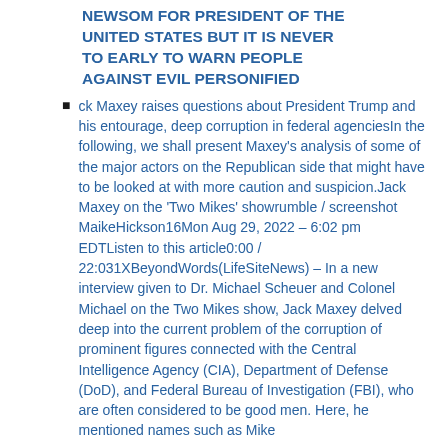NEWSOM FOR PRESIDENT OF THE UNITED STATES BUT IT IS NEVER TO EARLY TO WARN PEOPLE AGAINST EVIL PERSONIFIED
ck Maxey raises questions about President Trump and his entourage, deep corruption in federal agenciesIn the following, we shall present Maxey's analysis of some of the major actors on the Republican side that might have to be looked at with more caution and suspicion.Jack Maxey on the 'Two Mikes' showrumble / screenshot MaikeHickson16Mon Aug 29, 2022 – 6:02 pm EDTListen to this article0:00 / 22:031XBeyondWords(LifeSiteNews) – In a new interview given to Dr. Michael Scheuer and Colonel Michael on the Two Mikes show, Jack Maxey delved deep into the current problem of the corruption of prominent figures connected with the Central Intelligence Agency (CIA), Department of Defense (DoD), and Federal Bureau of Investigation (FBI), who are often considered to be good men. Here, he mentioned names such as Mike